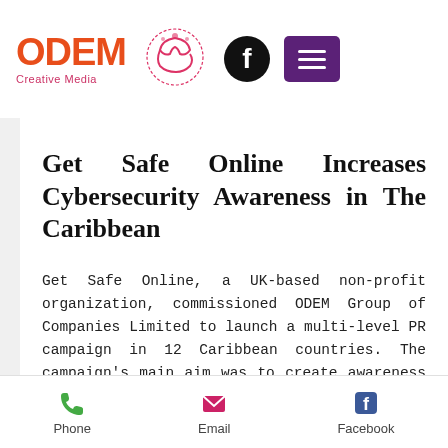ODEM Creative Media — header with logo, phone, Facebook, and menu icons
Get Safe Online Increases Cybersecurity Awareness in The Caribbean
Get Safe Online, a UK-based non-profit organization, commissioned ODEM Group of Companies Limited to launch a multi-level PR campaign in 12 Caribbean countries. The campaign's main aim was to create awareness for internet safety and drive traffic to 12 Cybersecurity...
Phone   Email   Facebook